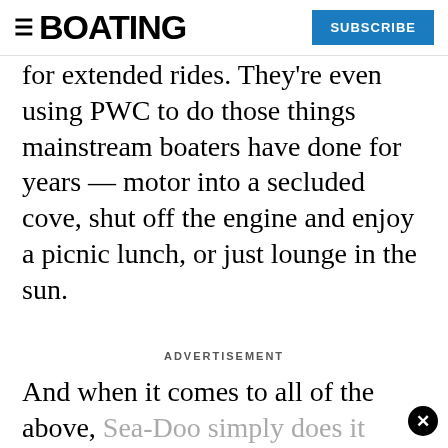BOATING | SUBSCRIBE
for extended rides. They're even using PWC to do those things mainstream boaters have done for years — motor into a secluded cove, shut off the engine and enjoy a picnic lunch, or just lounge in the sun.
ADVERTISEMENT
And when it comes to all of the above, Sea-Doo simply does it better. Stability might make activities like coving or fishing possible, but it's that platform size